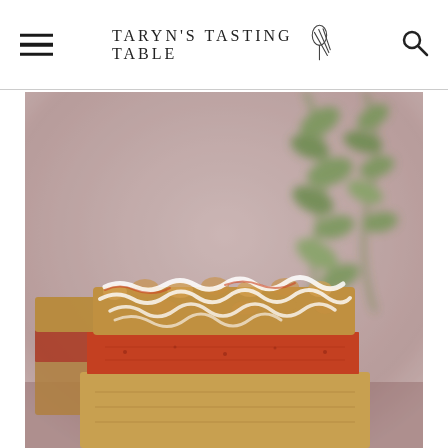TARYN'S TASTING TABLE
[Figure (photo): Stack of jam crumble bars drizzled with white icing, photographed close-up against a blurred pink/mauve background with green hanging plant leaves. The bars show distinct layers: a golden shortbread base, a red jam middle layer, and a crumble topping with white icing drizzle.]